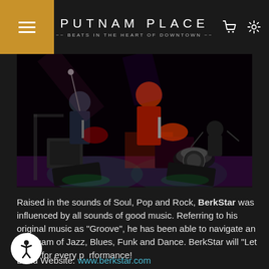PUTNAM PLACE — BEATS IN THE HEART OF DOWNTOWN
[Figure (photo): Band performing on stage with multiple guitarists and a drummer in a dark lit venue with purple/green stage lighting]
Raised in the sounds of Soul, Pop and Rock, BerkStar was influenced by all sounds of good music. Referring to his original music as "Groove", he has been able to navigate an amalgam of Jazz, Blues, Funk and Dance. BerkStar will "Let it Fly" for every performance!
Band Website: www.berkstar.com